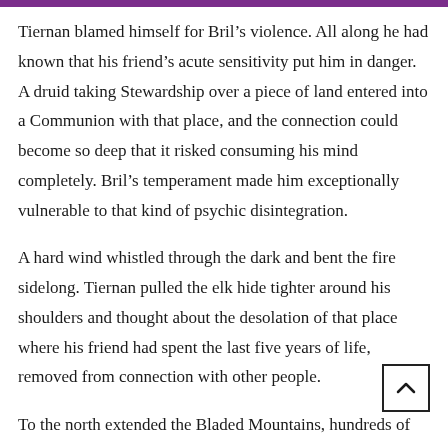Tiernan blamed himself for Bril’s violence. All along he had known that his friend’s acute sensitivity put him in danger. A druid taking Stewardship over a piece of land entered into a Communion with that place, and the connection could become so deep that it risked consuming his mind completely. Bril’s temperament made him exceptionally vulnerable to that kind of psychic disintegration.
A hard wind whistled through the dark and bent the fire sidelong. Tiernan pulled the elk hide tighter around his shoulders and thought about the desolation of that place where his friend had spent the last five years of life, removed from connection with other people.
To the north extended the Bladed Mountains, hundreds of miles of peaks so sheer and unforgiving that not even druids went there. To the south and east, the fast waters of the Thalthemin River cut the area off from the rest of the world. To the west was the city of Industry, growing rapidly along the shore of Lake Phalheen. Its inhabitants numbered in the tens of thousands,